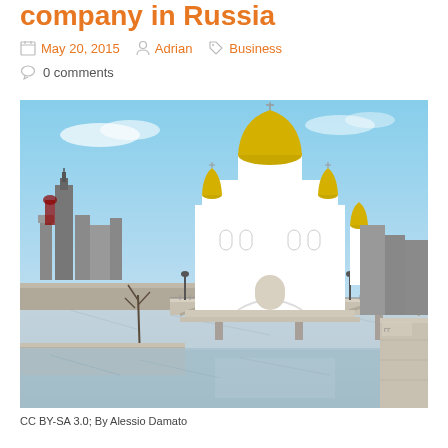company in Russia
May 20, 2015  Adrian  Business  0 comments
[Figure (photo): Photograph of the Cathedral of Christ the Saviour in Moscow, Russia, viewed from across a frozen river with a stone bridge in the foreground. Clear blue sky, gold onion domes, city skyline in background. Street lamps line the bridge.]
CC BY-SA 3.0; By Alessio Damato